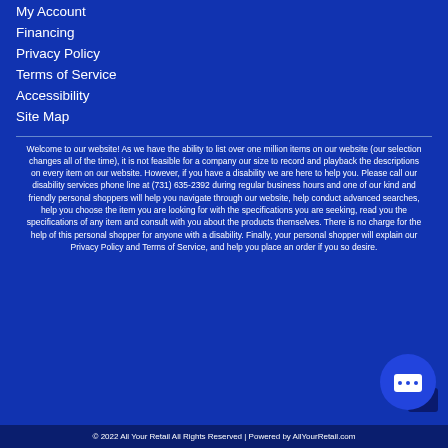My Account
Financing
Privacy Policy
Terms of Service
Accessibility
Site Map
Welcome to our website! As we have the ability to list over one million items on our website (our selection changes all of the time), it is not feasible for a company our size to record and playback the descriptions on every item on our website. However, if you have a disability we are here to help you. Please call our disability services phone line at (731) 635-2392 during regular business hours and one of our kind and friendly personal shoppers will help you navigate through our website, help conduct advanced searches, help you choose the item you are looking for with the specifications you are seeking, read you the specifications of any item and consult with you about the products themselves. There is no charge for the help of this personal shopper for anyone with a disability. Finally, your personal shopper will explain our Privacy Policy and Terms of Service, and help you place an order if you so desire.
© 2022 All Your Retail All Rights Reserved | Powered by AllYourRetail.com